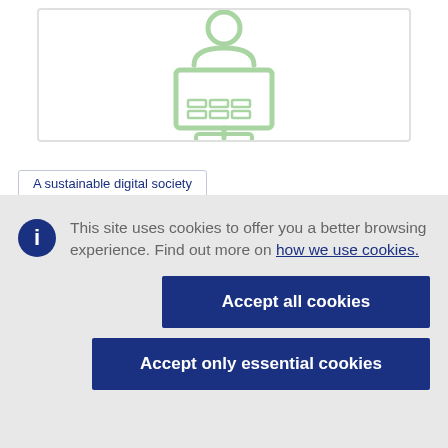[Figure (illustration): Green line-art icon of a person sitting at a computer/monitor on a desk, inside a rounded rectangle border box]
A sustainable digital society
This site uses cookies to offer you a better browsing experience. Find out more on how we use cookies.
Accept all cookies
Accept only essential cookies